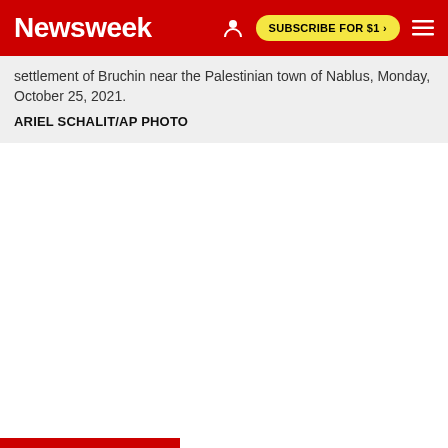Newsweek | SUBSCRIBE FOR $1 >
settlement of Bruchin near the Palestinian town of Nablus, Monday, October 25, 2021.
ARIEL SCHALIT/AP PHOTO